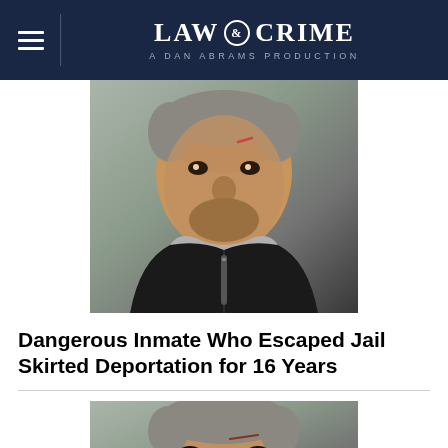LAW & CRIME — A DAN ABRAMS PRODUCTION
[Figure (photo): Mugshot of a middle-aged man wearing a black leather jacket and grey hoodie, with short grey hair and facial injuries]
Dangerous Inmate Who Escaped Jail Skirted Deportation for 16 Years
[Figure (photo): Second mugshot of the same man, closer crop showing face with short grey hair]